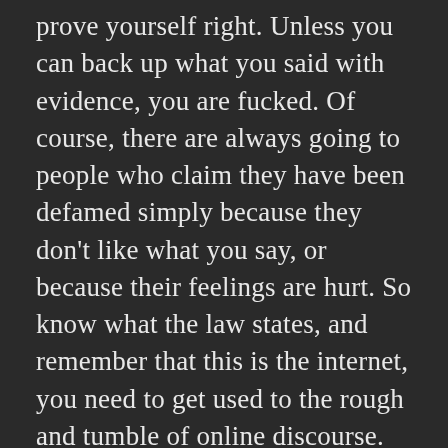prove yourself right. Unless you can back up what you said with evidence, you are fucked. Of course, there are always going to people who claim they have been defamed simply because they don't like what you say, or because their feelings are hurt. So know what the law states, and remember that this is the internet, you need to get used to the rough and tumble of online discourse. Defamation is a very, very expensive process, both to prove, or to have proved against you. If an incorrect or